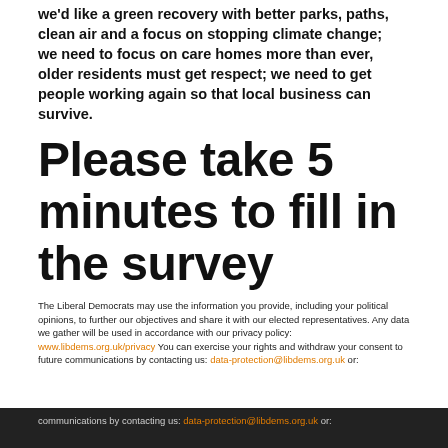we'd like a green recovery with better parks, paths, clean air and a focus on stopping climate change; we need to focus on care homes more than ever, older residents must get respect; we need to get people working again so that local business can survive.
Please take 5 minutes to fill in the survey
The Liberal Democrats may use the information you provide, including your political opinions, to further our objectives and share it with our elected representatives. Any data we gather will be used in accordance with our privacy policy: www.libdems.org.uk/privacy You can exercise your rights and withdraw your consent to future communications by contacting us: data-protection@libdems.org.uk or: